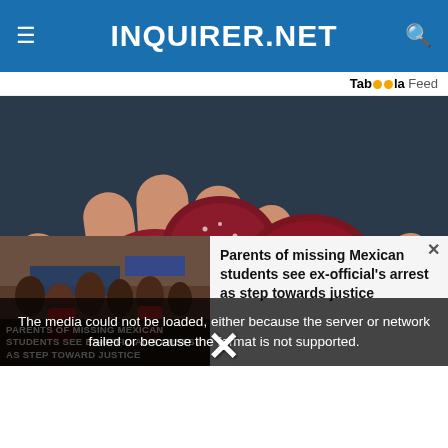INQUIRER.NET
Taboola Feed
[Figure (photo): A hand holding several red sugar-coated gummy candies against a dark background.]
The media could not be loaded, either because the server or network failed or because the format is not supported.
[Figure (photo): News thumbnail showing crowd at a protest or gathering with overlaid headline text.]
PARENTS OF MISSING MEXICAN STUDENTS SEE EX-OFFICIAL'S ARREST AS STEP TOWARD JUSTICE
Parents of missing Mexican students see ex-official's arrest as step towards justice